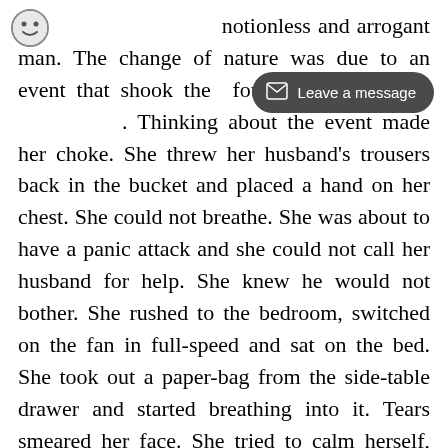motionless and arrogant man. The change of nature was due to an event that shook the foundation of their relationship. Thinking about the event made her choke. She threw her husband's trousers back in the bucket and placed a hand on her chest. She could not breathe. She was about to have a panic attack and she could not call her husband for help. She knew he would not bother. She rushed to the bedroom, switched on the fan in full-speed and sat on the bed. She took out a paper-bag from the side-table drawer and started breathing into it. Tears smeared her face. She tried to calm herself, still